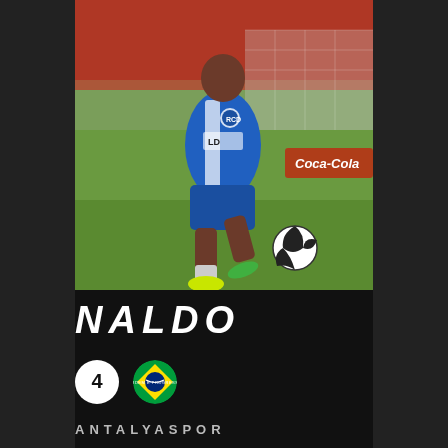[Figure (photo): Soccer player Naldo wearing blue and white Espanyol kit, running on a grass pitch during a match, with a football visible to his right.]
NALDO
4
[Figure (illustration): Brazilian flag circle badge]
ANTALYASPOR